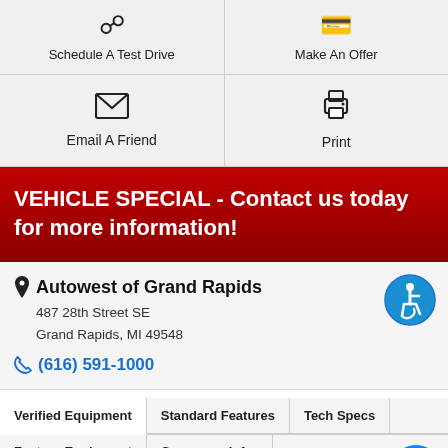Schedule A Test Drive
Make An Offer
Email A Friend
Print
VEHICLE SPECIAL - Contact us today for more information!
Autowest of Grand Rapids
487 28th Street SE
Grand Rapids, MI 49548
(616) 591-1000
Verified Equipment  Standard Features  Tech Specs  Factory Equipment  Consumer Info
Factory Options